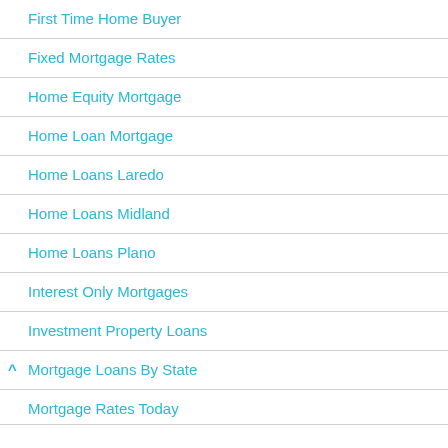First Time Home Buyer
Fixed Mortgage Rates
Home Equity Mortgage
Home Loan Mortgage
Home Loans Laredo
Home Loans Midland
Home Loans Plano
Interest Only Mortgages
Investment Property Loans
Mortgage Loans By State
Mortgage Rates Today